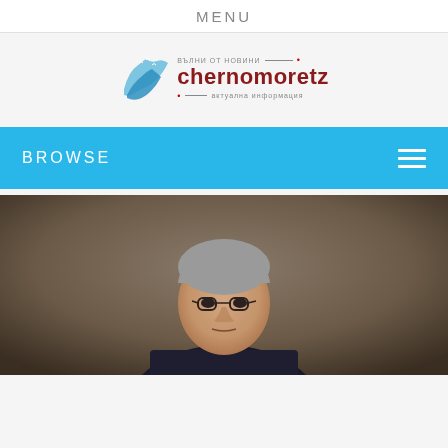MENU
[Figure (logo): Chernomoretz news website logo with wave graphic, Bulgarian text 'ВЪЛНИ ОТ НОВИНИ' and 'актуална информация', main name 'chernomoretz' in dark red]
BROWSE
[Figure (photo): Portrait photo of a middle-aged man with grey hair wearing glasses and a dark suit jacket with white shirt]